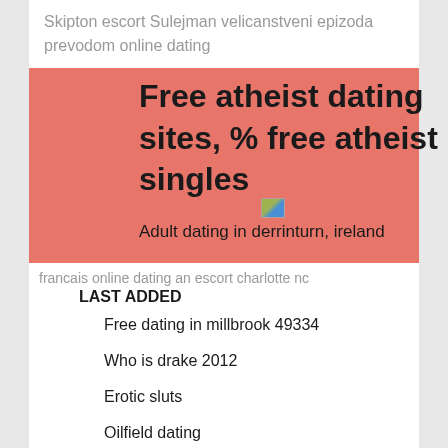Skipton escort Sulejman velicanstveni epizoda prevodom online dating
Free atheist dating sites, % free atheist singles
[Figure (photo): Small broken image placeholder icon]
Adult dating in derrinturn, ireland
francais online dating an escort charlotte nc
LAST ADDED
Free dating in millbrook 49334
Who is drake 2012
Erotic sluts
Oilfield dating